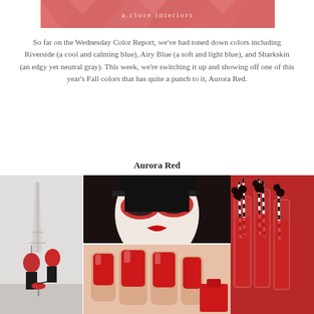[Figure (illustration): Header banner with salmon/coral geometric diamond pattern background and text 'a.clore interiors' in the center]
So far on the Wednesday Color Report, we've had toned down colors including Riverside (a cool and calming blue), Airy Blue (a soft and light blue), and Sharkskin (an edgy yet neutral gray). This week, we're switching it up and showing off one of this year's Fall colors that has quite a punch to it, Aurora Red.
Aurora Red
[Figure (photo): Collage of Aurora Red themed images: left column shows two people with red umbrellas near the Eiffel Tower in the rain; center top shows a woman wearing red sunglasses with a heart lock keyhole detail and red lipstick; center bottom shows red painted fingernails close-up with nail polish bottle; right column shows red cocktails in tall glasses with black-and-white striped straws and dark berry garnishes.]